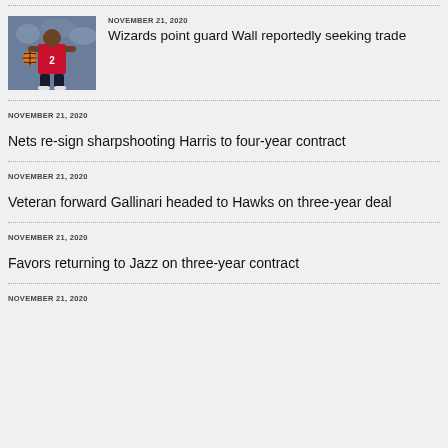[Figure (photo): Basketball player in Washington Wizards uniform dribbling ball]
NOVEMBER 21, 2020
Wizards point guard Wall reportedly seeking trade
NOVEMBER 21, 2020
Nets re-sign sharpshooting Harris to four-year contract
NOVEMBER 21, 2020
Veteran forward Gallinari headed to Hawks on three-year deal
NOVEMBER 21, 2020
Favors returning to Jazz on three-year contract
NOVEMBER 21, 2020